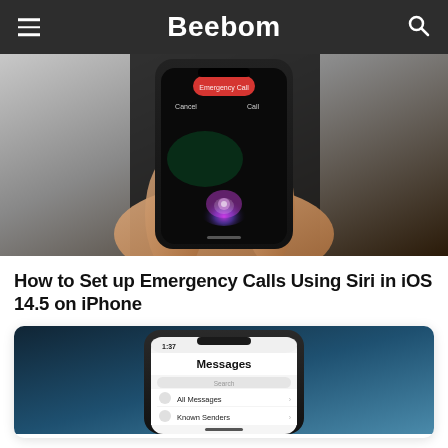Beebom
[Figure (photo): A hand holding an iPhone displaying Siri interface with a red emergency call button at top, Cancel and Call options, and glowing Siri orb. Background shows a laptop keyboard.]
How to Set up Emergency Calls Using Siri in iOS 14.5 on iPhone
[Figure (photo): A hand holding an iPhone showing the Messages app screen with 'All Messages' and 'Known Senders' options visible, against a teal/dark blue background.]